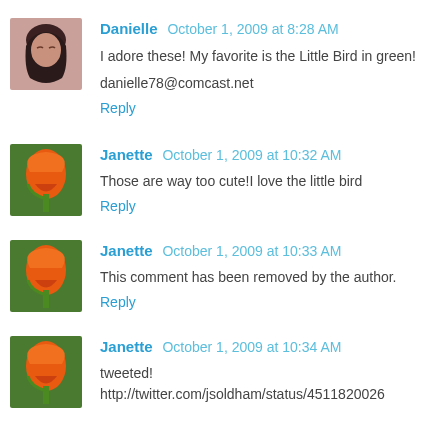[Figure (photo): Avatar of Danielle - woman with dark hair]
Danielle  October 1, 2009 at 8:28 AM
I adore these! My favorite is the Little Bird in green!
danielle78@comcast.net
Reply
[Figure (photo): Avatar of Janette - orange tulip flower]
Janette  October 1, 2009 at 10:32 AM
Those are way too cute!I love the little bird
Reply
[Figure (photo): Avatar of Janette - orange tulip flower]
Janette  October 1, 2009 at 10:33 AM
This comment has been removed by the author.
Reply
[Figure (photo): Avatar of Janette - orange tulip flower]
Janette  October 1, 2009 at 10:34 AM
tweeted! http://twitter.com/jsoldham/status/4511820026